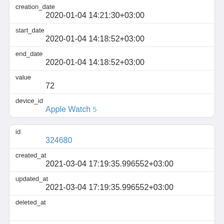| creation_date | 2020-01-04 14:21:30+03:00 |
| start_date | 2020-01-04 14:18:52+03:00 |
| end_date | 2020-01-04 14:18:52+03:00 |
| value | 72 |
| device_id | Apple Watch 5 |
| id | 324680 |
| created_at | 2021-03-04 17:19:35.996552+03:00 |
| updated_at | 2021-03-04 17:19:35.996552+03:00 |
| deleted_at |  |
| type | HKQuantityTypeIdentifierActiveEnergyBurned |